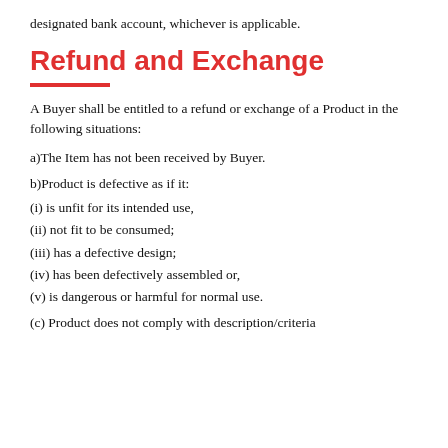designated bank account, whichever is applicable.
Refund and Exchange
A Buyer shall be entitled to a refund or exchange of a Product in the following situations:
a)The Item has not been received by Buyer.
b)Product is defective as if it:
(i) is unfit for its intended use,
(ii) not fit to be consumed;
(iii) has a defective design;
(iv) has been defectively assembled or,
(v) is dangerous or harmful for normal use.
(c) Product does not comply with description/criteria